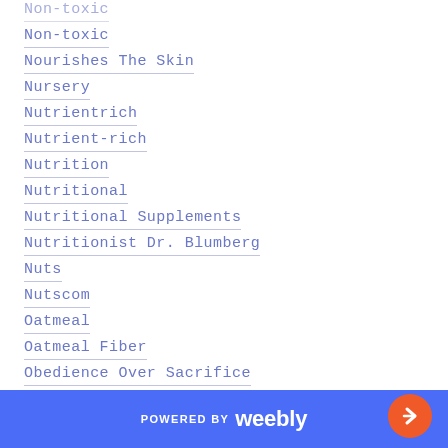Non-toxic
Nourishes The Skin
Nursery
Nutrientrich
Nutrient-rich
Nutrition
Nutritional
Nutritional Supplements
Nutritionist Dr. Blumberg
Nuts
Nutscom
Oatmeal
Oatmeal Fiber
Obedience Over Sacrifice
Ocular Disease
Oil Pulling
Oily Skin
POWERED BY weebly